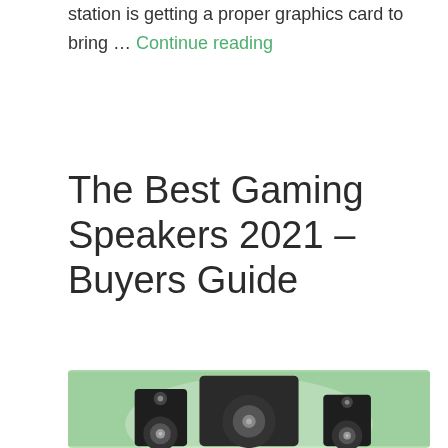station is getting a proper graphics card to bring … Continue reading
The Best Gaming Speakers 2021 – Buyers Guide
[Figure (photo): Photo of a 2.1 gaming speaker set (subwoofer and two satellite speakers) on a green background]